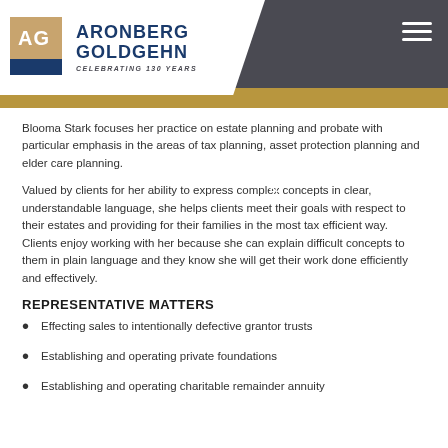[Figure (logo): Aronberg Goldgehn law firm logo with AG badge, firm name, and 'Celebrating 130 Years' tagline on white background with dark gray header bar]
Blooma Stark focuses her practice on estate planning and probate with particular emphasis in the areas of tax planning, asset protection planning and elder care planning.
Valued by clients for her ability to express complex concepts in clear, understandable language, she helps clients meet their goals with respect to their estates and providing for their families in the most tax efficient way. Clients enjoy working with her because she can explain difficult concepts to them in plain language and they know she will get their work done efficiently and effectively.
REPRESENTATIVE MATTERS
Effecting sales to intentionally defective grantor trusts
Establishing and operating private foundations
Establishing and operating charitable remainder annuity